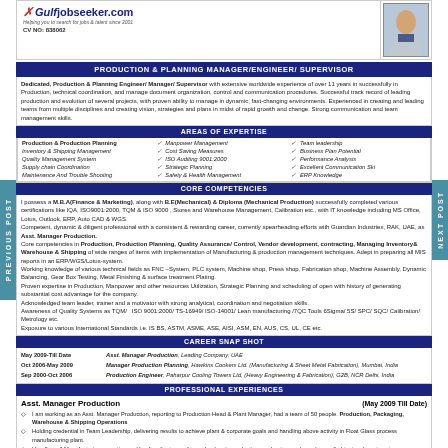[Figure (logo): Gulfjobseeker.com logo with tagline and CV number]
[Figure (photo): Professional headshot photo]
Production & Planning Manager/Engineer/Supervisor
Dedicated, Production & Planning Engineer/Manager/Supervisor with extensive worldwide experience of over 11 years in successfully in Production, technical coordination, and manage document organization, control and communication procedures. Successful track record of leading production and evolution of several projects, with proven ability to manage in dynamic, fast-changing environments. Experienced in creating and leading teams from multiple disciplines and creating vision, strategies and plans in midst of rapid growth and change. Strong communication and team management skills.
Areas Of Expertise
Production & Production Planning
Inventory & Shipping Management
Quality Management System
Supply chain Coordination
Maintenance And Trouble Shooting
✓ Manpower Management
✓ Cost Saving Measures
✓ ISO Auditing 9001:2000
✓ Strategic Planning
✓ Safety & Health Management
✓ Team leadership
✓ Business Plan Potential
✓ Performance Analysis
✓ Excellent Communication Skills
✓ ERP Knowledge
Core Competencies
I possess a M.B.A(Finance & Marketing), along with B.E(Mechanical) & Diploma (Mechanical Production) successfully completed various certifications like IQA, ISO9001:2000, TQM & ISO 9000, Stores and Warehouse Management, Calibration etc., with IT knowledge including MS Office, Lotus, Outlook, ERP, Auto CAD & WGS.
Career Snap Shot
May 2009-Till Date  Asst. Manager Production, Leading Company, UAE
Oct 2006-May 2009  Manager Production Planning, Hawkins Cookers Ltd. (Manufacturing & Sheet Metal Fabrication), Mumbai, India
Sep 2000-Oct 2006  Production Engineer, Paharpur Cooling Towers Ltd, (Heavy Engineering & Fabrication), G2B, NCR Delhi, India
Professional Experiences
Asst. Manager Production  (May 2009 Till Date)
I am working as an Asst. Manager Production, reporting to Production Head & Plant Manager, had a team of 50 people. Production, Packaging, Warehouse & Shipping Operations
Holding credential in Team Leadership, delivering results to achieve plant & corporate goals and handling above activity in Float Glass process manufacturing plant.
Handling all Manufacturing operation and leading the team of team leaders in production, packaging, and warehouse & shipping department.
Allocation and optimum utilization of Manpower, Machines etc to achieve department, crew and company goals.